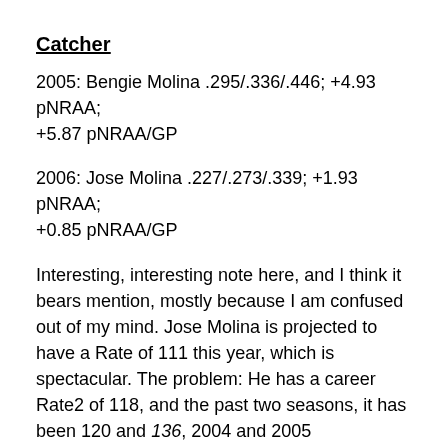Catcher
2005: Bengie Molina .295/.336/.446; +4.93 pNRAA; +5.87 pNRAA/GP
2006: Jose Molina .227/.273/.339; +1.93 pNRAA; +0.85 pNRAA/GP
Interesting, interesting note here, and I think it bears mention, mostly because I am confused out of my mind. Jose Molina is projected to have a Rate of 111 this year, which is spectacular. The problem: He has a career Rate2 of 118, and the past two seasons, it has been 120 and 136, 2004 and 2005 respectively. The point of confusion stems from this idea: How do catchers earn that many defensive runs? Something about it seems wrong, and I cannot quite put my finger on it. I am awaiting a response via e-mail, so I'll let you